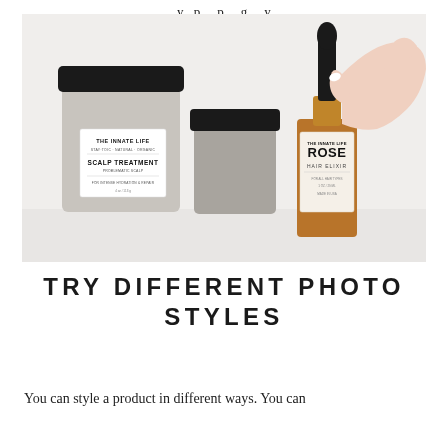y p p g y
[Figure (photo): Product photo showing three The Innate Life beauty products on a white surface: a large glass jar with black lid labeled 'THE INNATE LIFE SCALP TREATMENT', a medium glass jar with black lid, and an amber dropper bottle labeled 'THE INNATE LIFE ROSE HAIR ELIXIR' being held by a hand with white nail polish.]
TRY DIFFERENT PHOTO STYLES
You can style a product in different ways. You can